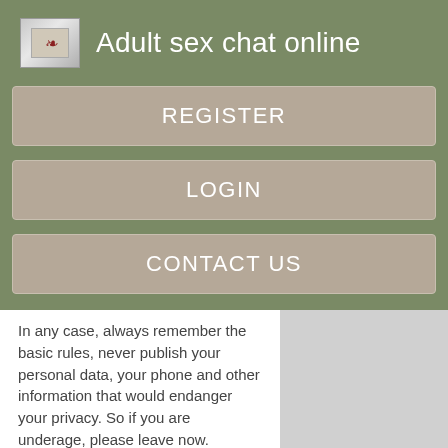Adult sex chat online
REGISTER
LOGIN
CONTACT US
In any case, always remember the basic rules, never publish your personal data, your phone and other information that would endanger your privacy. So if you are underage, please leave now.
Free chat rooms - online chat